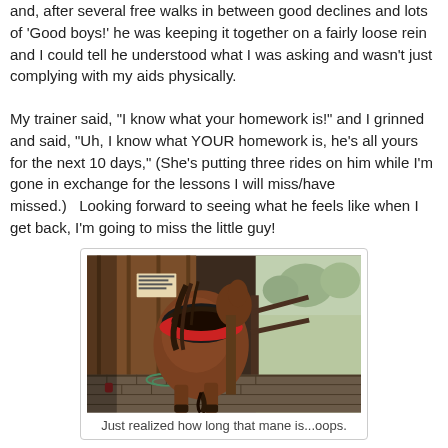and, after several free walks in between good declines and lots of 'Good boys!' he was keeping it together on a fairly loose rein and I could tell he understood what I was asking and wasn't just complying with my aids physically.
My trainer said, "I know what your homework is!" and I grinned and said, "Uh, I know what YOUR homework is, he's all yours for the next 10 days," (She's putting three rides on him while I'm gone in exchange for the lessons I will miss/have missed.)   Looking forward to seeing what he feels like when I get back, I'm going to miss the little guy!
[Figure (photo): A brown horse viewed from behind, saddled with a dark saddle and red saddle pad, standing in a barn aisle with wooden walls, a rope on the ground, and daylight visible through an open door in the background.]
Just realized how long that mane is...oops.